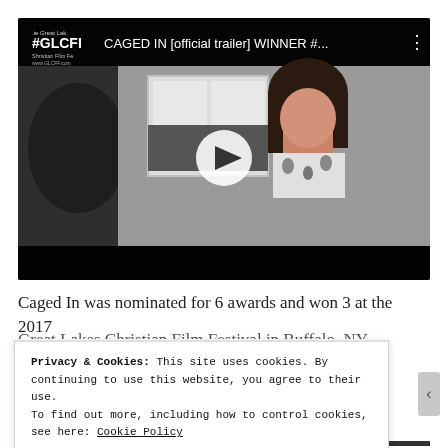[Figure (screenshot): YouTube video thumbnail/player showing 'CAGED IN [official trailer] WINNER #...' with Great Lakes Christian Film Festival (#GLCFF) logo in top-left corner, white play button in center, woman with dark hair in kitchen scene, dark control bar at bottom]
Caged In was nominated for 6 awards and won 3 at the 2017
Great Lakes Christian Film Festival in Buffalo, NY
Privacy & Cookies: This site uses cookies. By continuing to use this website, you agree to their use.
To find out more, including how to control cookies, see here: Cookie Policy
Close and accept